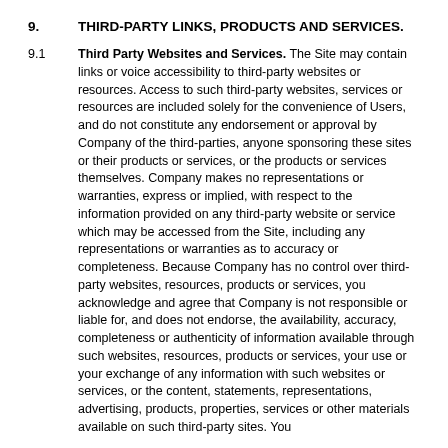9. THIRD-PARTY LINKS, PRODUCTS AND SERVICES.
9.1 Third Party Websites and Services. The Site may contain links or voice accessibility to third-party websites or resources. Access to such third-party websites, services or resources are included solely for the convenience of Users, and do not constitute any endorsement or approval by Company of the third-parties, anyone sponsoring these sites or their products or services, or the products or services themselves. Company makes no representations or warranties, express or implied, with respect to the information provided on any third-party website or service which may be accessed from the Site, including any representations or warranties as to accuracy or completeness. Because Company has no control over third-party websites, resources, products or services, you acknowledge and agree that Company is not responsible or liable for, and does not endorse, the availability, accuracy, completeness or authenticity of information available through such websites, resources, products or services, your use or your exchange of any information with such websites or services, or the content, statements, representations, advertising, products, properties, services or other materials available on such third-party sites. You